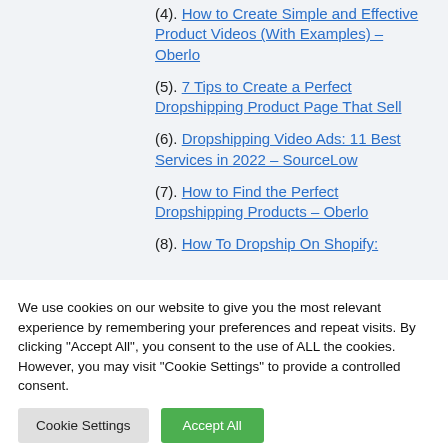(4). How to Create Simple and Effective Product Videos (With Examples) – Oberlo
(5). 7 Tips to Create a Perfect Dropshipping Product Page That Sell
(6). Dropshipping Video Ads: 11 Best Services in 2022 – SourceLow
(7). How to Find the Perfect Dropshipping Products – Oberlo
(8). How To Dropship On Shopify:
We use cookies on our website to give you the most relevant experience by remembering your preferences and repeat visits. By clicking "Accept All", you consent to the use of ALL the cookies. However, you may visit "Cookie Settings" to provide a controlled consent.